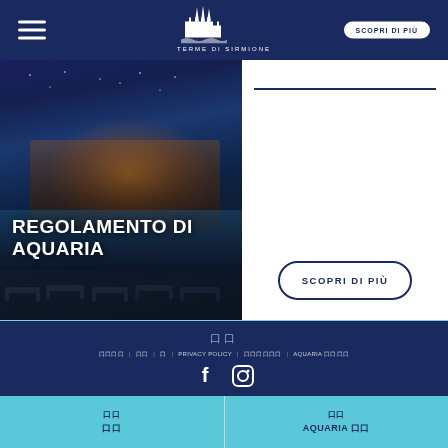TERME DI SIRMIONE
[Figure (photo): Thermal spa pool area at dusk/evening with warm lighting from building, lounge chairs in foreground, lake and sky in background. Text overlay reads REGOLAMENTO DI AQUARIA]
REGOLAMENTO DI AQUARIA
[Figure (other): Horizontal dark navy divider line]
SCOPRI DI PIÙ
口口 | 口口口 | 口口 | 口 | PRIVACY POLICY | 口口口口口 | AQUARIA 口口口口
[Figure (other): Facebook and Instagram social media icons]
口口 口口
口口 AQUARIA 口口